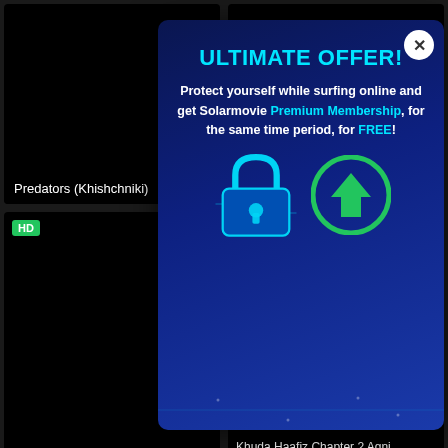[Figure (screenshot): Movie thumbnail card for Predators (Khishchniki) with black background]
Predators (Khishchniki)
[Figure (screenshot): Movie thumbnail card for Restart the Earth with black background]
Restart the Earth
[Figure (screenshot): Movie thumbnail card with HD badge, black background]
[Figure (infographic): Popup ad overlay for Solarmovie Ultimate Offer with lock icon and shield graphic]
ULTIMATE OFFER!
Protect yourself while surfing online and get Solarmovie Premium Membership, for the same time period, for FREE!
Khuda Haafiz Chapter 2 Agni...